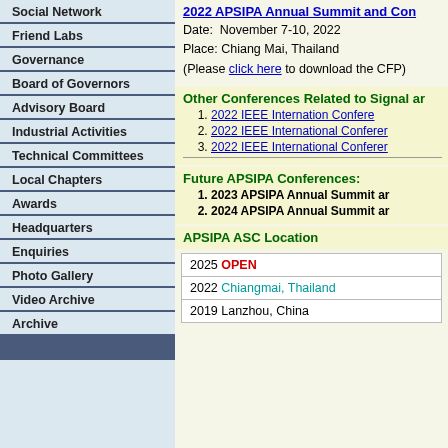Social Network
Friend Labs
Governance
Board of Governors
Advisory Board
Industrial Activities
Technical Committees
Local Chapters
Awards
Headquarters
Enquiries
Photo Gallery
Video Archive
Archive
2022 APSIPA Annual Summit and Con...
Date: November 7-10, 2022
Place: Chiang Mai, Thailand
(Please click here to download the CFP)
Other Conferences Related to Signal an...
2022 IEEE Internation Confere...
2022 IEEE International Conferen...
2022 IEEE International Conferen...
Future APSIPA Conferences:
2023 APSIPA Annual Summit an...
2024 APSIPA Annual Summit an...
APSIPA ASC Location
| Year | Location |
| --- | --- |
| 2025 | OPEN |
| 2022 | Chiangmai, Thailand |
| 2019 | Lanzhou, China |